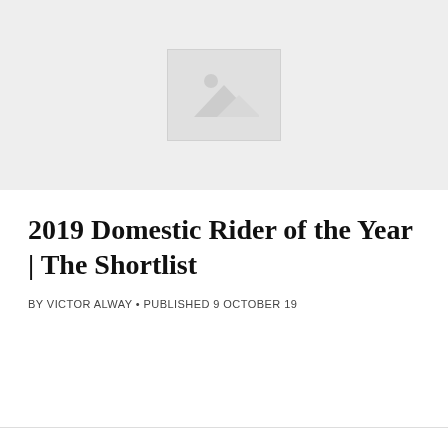[Figure (photo): Placeholder image with mountain/landscape icon on light grey background]
2019 Domestic Rider of the Year | The Shortlist
BY VICTOR ALWAY • PUBLISHED 9 OCTOBER 19